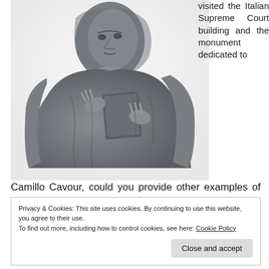[Figure (photo): Black and white photograph of a stone statue of a robed male figure holding a book, cropped to show the upper body and face looking upward, set against a white background.]
visited the Italian Supreme Court building and the monument dedicated to Camillo Cavour, could you provide other examples of monuments that have a peculiar relationship with law and
Privacy & Cookies: This site uses cookies. By continuing to use this website, you agree to their use.
To find out more, including how to control cookies, see here: Cookie Policy
Close and accept